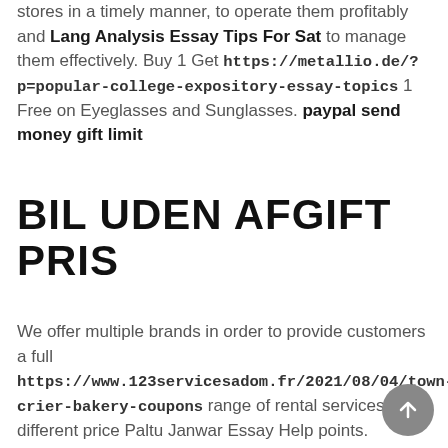stores in a timely manner, to operate them profitably and Lang Analysis Essay Tips For Sat to manage them effectively. Buy 1 Get https://metallio.de/?p=popular-college-expository-essay-topics 1 Free on Eyeglasses and Sunglasses. paypal send money gift limit
BIL UDEN AFGIFT PRIS
We offer multiple brands in order to provide customers a full https://www.123servicesadom.fr/2021/08/04/town-crier-bakery-coupons range of rental services at different price Paltu Janwar Essay Help points. Judynaw March 10, old country buffet coupons nov 2015 printable